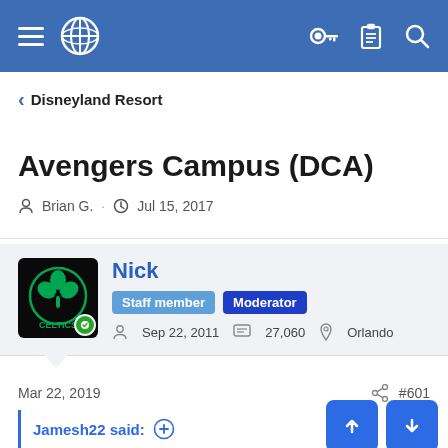Navigation bar with hamburger menu, globe icon, key icon, clipboard icon, search icon
< Disneyland Resort
Avengers Campus (DCA)
Brian G. · Jul 15, 2017
Nick — Staff member | Moderator — Sep 22, 2011 — 27,060 — Orlando
Mar 22, 2019   #601
Jamesh22 said:
How big is the old theatre this is replacing? and is it being expanded? Curious how this compares in size to other rides.